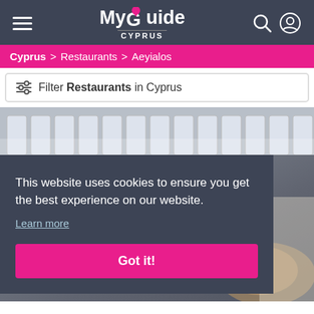My Guide Cyprus — hamburger menu, search, profile icons
Cyprus > Restaurants > Aeyialos
Filter Restaurants in Cyprus
[Figure (photo): Photo of white restaurant chairs in a row]
[Figure (photo): Photo partially visible behind cookie consent overlay, showing food on a plate]
This website uses cookies to ensure you get the best experience on our website.
Learn more
Got it!